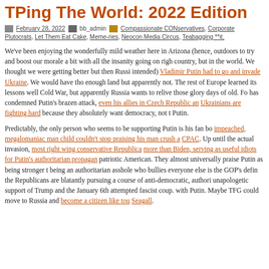TPing The World: 2022 Edition
February 28, 2022  bb_admin  Compassionate CONservatives, Corporate Plutocrats, Let Them Eat Cake, Meme-ries, Neocon Media Circus, Teabagging **it,
We've been enjoying the wonderfully mild weather here in Arizona (hence, outdoors to try and boost our morale a bit with all the insanity going on right country, but in the world. We thought we were getting better but then Russi intended) Vladimir Putin had to go and invade Ukraine. We would have tho enough land but apparently not. The rest of Europe learned its lessons well Cold War, but apparently Russia wants to relive those glory days of old. Fo has condemned Putin's brazen attack, even his allies in Czech Republic and Ukrainians are fighting hard because they absolutely want democracy, not r Putin.
Predictably, the only person who seems to be supporting Putin is his fan bo impeached, megalomaniac man child couldn't stop praising his man crush a CPAC. Up until the actual invasion, most right wing conservative Republica more than Biden, serving as useful idiots for Putin's authoritarian propagan patriotic American. They almost universally praise Putin as being stronger t being an authoritarian asshole who bullies everyone else is the GOP's defi the Republicans are blatantly pursuing a course of anti-democratic, authori unapologetic support of Trump and the January 6th attempted fascist coup. with Putin. Maybe TFG could move to Russia and become a citizen like tou Seagall.